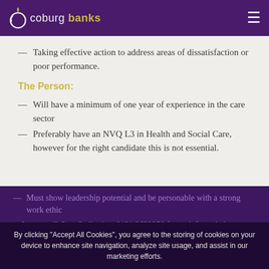Coburg Banks
— Taking effective action to address areas of dissatisfaction or poor performance.
The Person:
— Will have a minimum of one year of experience in the care sector
— Preferably have an NVQ L3 in Health and Social Care, however for the right candidate this is not essential.
— Must show leadership potential and be personable with a strong work ethic
Interested? Stan Stallard on 0121 3622350 for an informal chat
By clicking "Accept All Cookies", you agree to the storing of cookies on your device to enhance site navigation, analyze site usage, and assist in our marketing efforts.